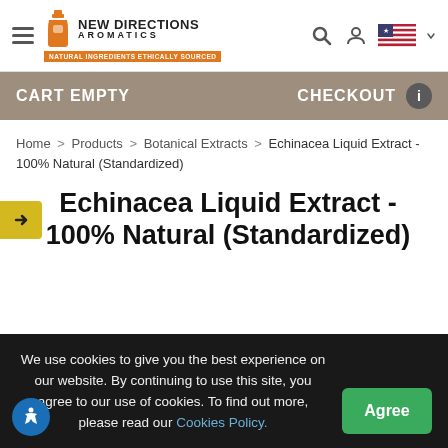New Directions Aromatics - Natural Ingredients Ethically Sourced
CART EMPTY   CHECKOUT
Home > Products > Botanical Extracts > Echinacea Liquid Extract - 100% Natural (Standardized)
Echinacea Liquid Extract - 100% Natural (Standardized)
We use cookies to give you the best experience on our website. By continuing to use this site, you agree to our use of cookies. To find out more, please read our Cookies Policy.